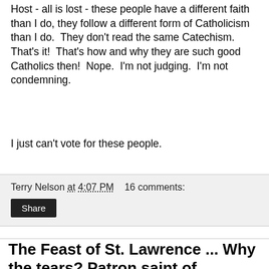Host - all is lost - these people have a different faith than I do, they follow a different form of Catholicism than I do.  They don't read the same Catechism.  That's it!  That's how and why they are such good Catholics then!  Nope.  I'm not judging.  I'm not condemning.
I just can't vote for these people.
Terry Nelson at 4:07 PM   16 comments:
Share
The Feast of St. Lawrence ... Why the tears? Patron saint of comedians? Huh?